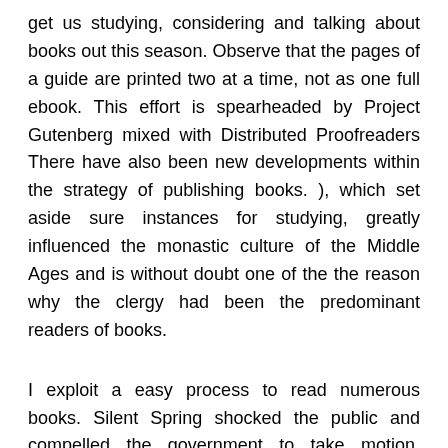get us studying, considering and talking about books out this season. Observe that the pages of a guide are printed two at a time, not as one full ebook. This effort is spearheaded by Project Gutenberg mixed with Distributed Proofreaders There have also been new developments within the strategy of publishing books. ), which set aside sure instances for studying, greatly influenced the monastic culture of the Middle Ages and is without doubt one of the the reason why the clergy had been the predominant readers of books.
I exploit a easy process to read numerous books. Silent Spring shocked the public and compelled the government to take motion, regardless of a withering assault on Carson from the chemical substances industry. Silent Spring is a watershed second within the